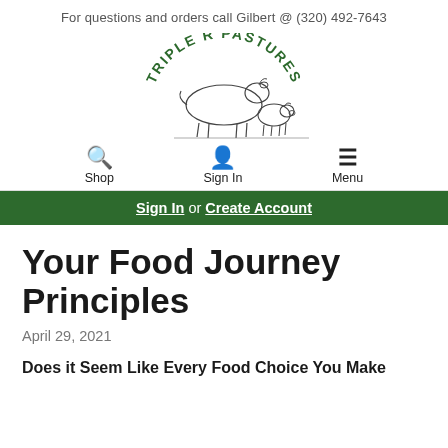For questions and orders call Gilbert @ (320) 492-7643
[Figure (logo): Triple R Pastures logo with arched text 'TRIPLE R PASTURES' in green above a sketch of a cow and pig, with text 'FROM OUR PASTURE TO YOUR PLATE' below]
Shop | Sign In | Menu
Sign In or Create Account
Your Food Journey Principles
April 29, 2021
Does it Seem Like Every Food Choice You Make